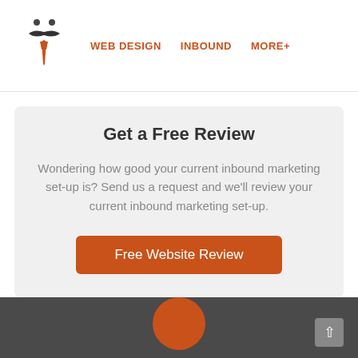WEB DESIGN   INBOUND   MORE+
Get a Free Review
Wondering how good your current inbound marketing set-up is? Send us a request and we'll review your current inbound marketing set-up.
Free Website Review
[Figure (other): Dark gray footer section with an orange semi-circle visible at the bottom center and a gray scroll-to-top button with an up arrow in the bottom right corner]